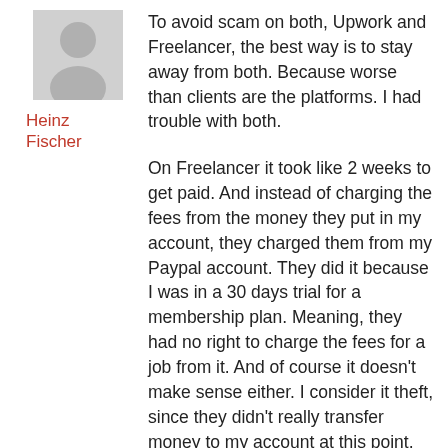[Figure (photo): Grey silhouette avatar icon of a person]
Heinz Fischer
To avoid scam on both, Upwork and Freelancer, the best way is to stay away from both. Because worse than clients are the platforms. I had trouble with both.
On Freelancer it took like 2 weeks to get paid. And instead of charging the fees from the money they put in my account, they charged them from my Paypal account. They did it because I was in a 30 days trial for a membership plan. Meaning, they had no right to charge the fees for a job from it. And of course it doesn't make sense either. I consider it theft, since they didn't really transfer money to my account at this point, but took some instead!
After I didn't get paid for the second job, I